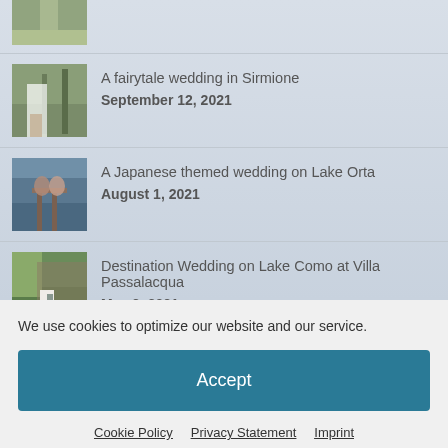[Figure (photo): Partial thumbnail of a tree-lined path (top of page, cropped)]
A fairytale wedding in Sirmione
September 12, 2021
A Japanese themed wedding on Lake Orta
August 1, 2021
Destination Wedding on Lake Como at Villa Passalacqua
May 2, 2021
We use cookies to optimize our website and our service.
Accept
Cookie Policy   Privacy Statement   Imprint